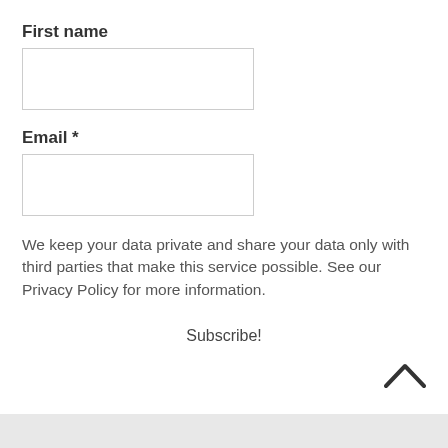First name
[Figure (other): Empty text input box for First name]
Email *
[Figure (other): Empty text input box for Email]
We keep your data private and share your data only with third parties that make this service possible. See our Privacy Policy for more information.
Subscribe!
[Figure (other): Upward chevron / caret icon for scroll to top]